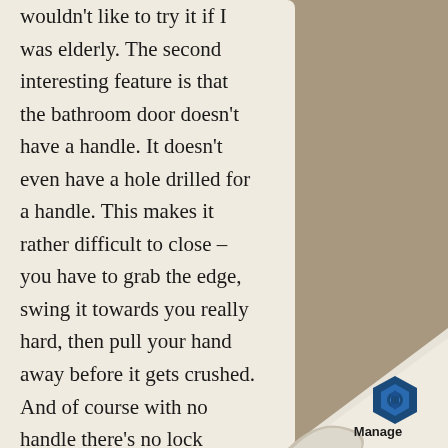wouldn't like to try it if I was elderly. The second interesting feature is that the bathroom door doesn't have a handle. It doesn't even have a hole drilled for a handle. This makes it rather difficult to close – you have to grab the edge, swing it towards you really hard, then pull your hand away before it gets crushed. And of course with no handle there's no lock either. The general policy is to keep it closed when you're in there, and wide open at all other times, which has so far
[Figure (logo): Manage logo with hexagon icon on curled paper corner]